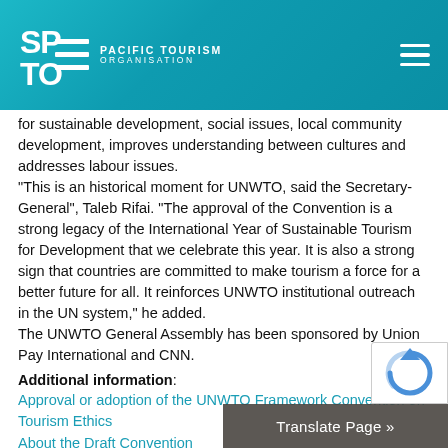Pacific Tourism Organisation
for sustainable development, social issues, local community development, improves understanding between cultures and addresses labour issues.
"This is an historical moment for UNWTO, said the Secretary-General", Taleb Rifai. "The approval of the Convention is a strong legacy of the International Year of Sustainable Tourism for Development that we celebrate this year. It is also a strong sign that countries are committed to make tourism a force for a better future for all. It reinforces UNWTO institutional outreach in the UN system," he added.
The UNWTO General Assembly has been sponsored by Union Pay International and CNN.
Additional information:
Approval or adoption of the UNWTO Framework Convention on Tourism Ethics
About the Draft Convention
Global Code of Ethics in the Tourism sector
Interview with Pascal Lamy
Photos of the 22nd UNWTO General Assembly by official photographer